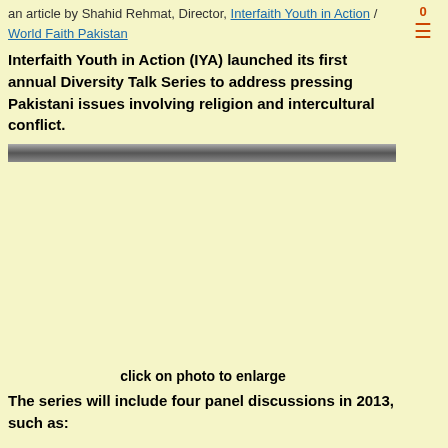an article by Shahid Rehmat, Director, Interfaith Youth in Action / World Faith Pakistan
Interfaith Youth in Action (IYA) launched its first annual Diversity Talk Series to address pressing Pakistani issues involving religion and intercultural conflict.
[Figure (photo): A photo placeholder area with a dark gray/silver gradient strip at the top and a light yellow background below, representing a photo to be enlarged on click.]
click on photo to enlarge
The series will include four panel discussions in 2013, such as: